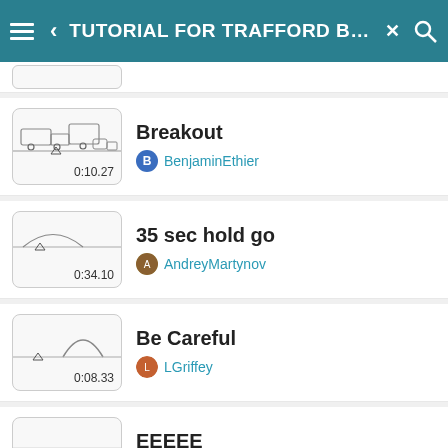TUTORIAL FOR TRAFFORD BAKE
Breakout | BenjaminEthier | 0:10.27
35 sec hold go | AndreyMartynov | 0:34.10
Be Careful | LGriffey | 0:08.33
EEEEE | CrazyDrawer | 0:23.10
truck hold up 2 | (author partially visible)